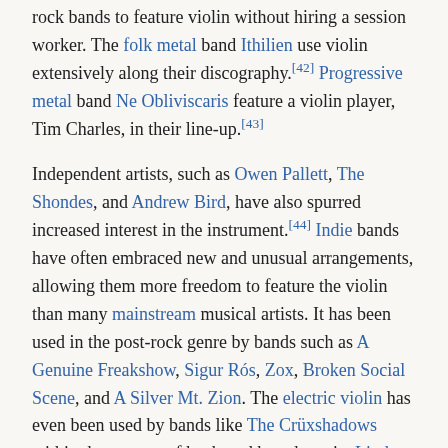rock bands to feature violin without hiring a session worker. The folk metal band Ithilien use violin extensively along their discography.[42] Progressive metal band Ne Obliviscaris feature a violin player, Tim Charles, in their line-up.[43]
Independent artists, such as Owen Pallett, The Shondes, and Andrew Bird, have also spurred increased interest in the instrument.[44] Indie bands have often embraced new and unusual arrangements, allowing them more freedom to feature the violin than many mainstream musical artists. It has been used in the post-rock genre by bands such as A Genuine Freakshow, Sigur Rós, Zox, Broken Social Scene, and A Silver Mt. Zion. The electric violin has even been used by bands like The Crüxshadows within the context of keyboard based music. Lindsey Stirling plays the violin in conjunction with electronic/dubstep/trance rifts and beats.[45]
Eric Stanley improvises on the violin with hip hop